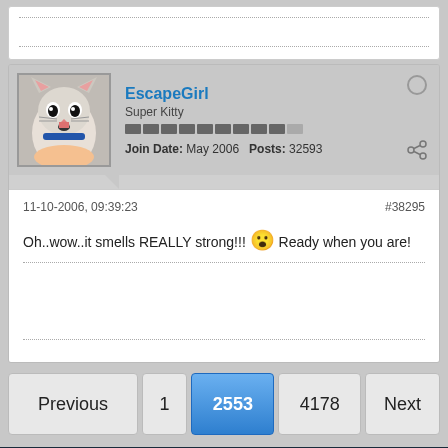[Figure (screenshot): Forum post stub at top of page, partially visible with dotted divider lines]
EscapeGirl
Super Kitty
Join Date: May 2006   Posts: 32593
11-10-2006, 09:39:23
#38295
Oh..wow..it smells REALLY strong!!! 😮 Ready when you are!
Previous  1  2553  4178  Next
Go to...
Copyright © GamersHood.com 2004-2020